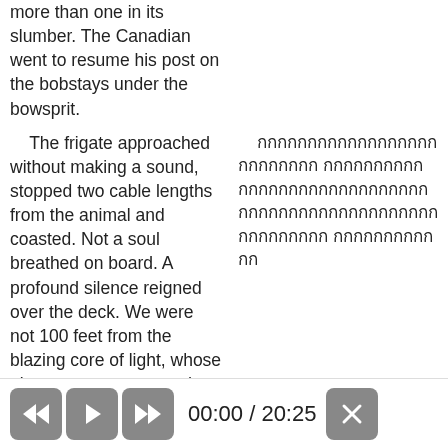more than one in its slumber. The Canadian went to resume his post on the bobstays under the bowsprit.
The frigate approached without making a sound, stopped two cable lengths from the animal and coasted. Not a soul breathed on board. A profound silence reigned over the deck. We were not 100 feet from the blazing core of light, whose glow grew stronger and dazzled the eyes.
[Thai text - right column paragraph 1]
Just then, leaning over the forecastle railing, I saw Ned Land below me, one hand grasping the martingale, the other brandishing his dreadful
[Thai text - right column paragraph 2]
[Figure (screenshot): Media player controls bar showing rewind, play, fast-forward buttons, time display 00:00 / 20:25, and close button]